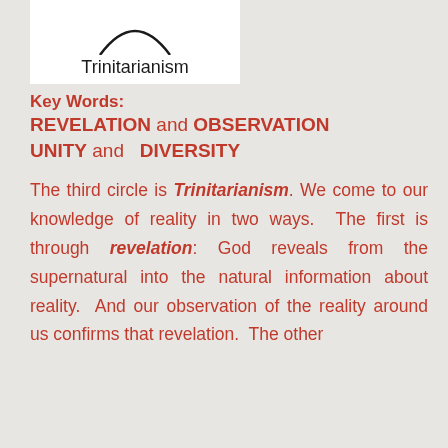[Figure (illustration): Partial view of a circle diagram with label 'Trinitarianism' below it, shown in a white box]
Key Words:
REVELATION and OBSERVATION

UNITY and  DIVERSITY
The third circle is Trinitarianism. We come to our knowledge of reality in two ways.  The first is through revelation: God reveals from the supernatural into the natural information about reality.  And our observation of the reality around us confirms that revelation.  The other